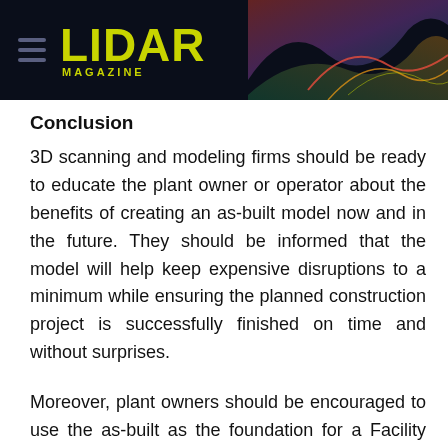LIDAR MAGAZINE
Conclusion
3D scanning and modeling firms should be ready to educate the plant owner or operator about the benefits of creating an as-built model now and in the future. They should be informed that the model will help keep expensive disruptions to a minimum while ensuring the planned construction project is successfully finished on time and without surprises.
Moreover, plant owners should be encouraged to use the as-built as the foundation for a Facility Maintenance system that will support the owner in